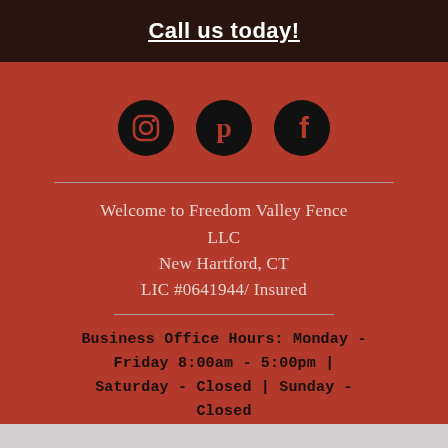Call us today!
[Figure (illustration): Three black circular social media icons: Instagram, Pinterest, and Facebook]
Welcome to Freedom Valley Fence LLC
New Hartford, CT
LIC #0641944/ Insured
Business Office Hours: Monday - Friday 8:00am - 5:00pm | Saturday - Closed | Sunday - Closed